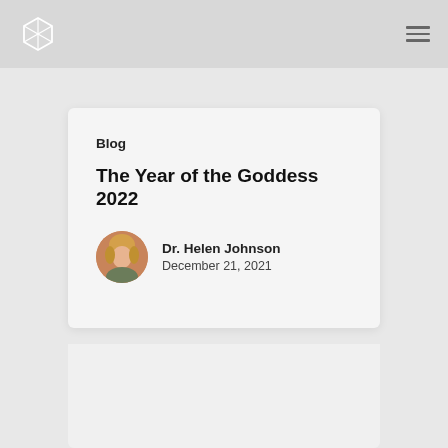Blog
The Year of the Goddess 2022
Dr. Helen Johnson
December 21, 2021